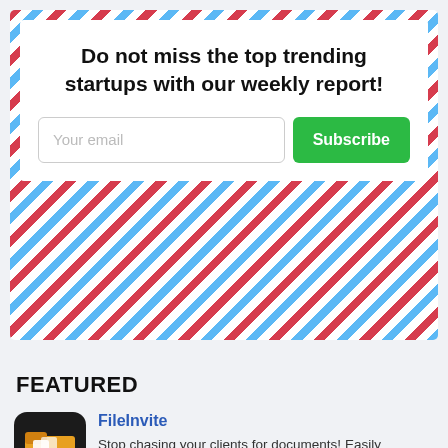Do not miss the top trending startups with our weekly report!
Your email
Subscribe
FEATURED
FileInvite
Stop chasing your clients for documents! Easily request files,...
[Figure (logo): FileInvite logo - dark background with folder icon]
[Figure (infographic): Row of 5 app icons: Adobe Capture (Cp), red font icon (a), blue list icon, green checkmark icon, dark gaming icon]
[Figure (logo): Tasksaur dinosaur logo on light grey rounded card]
Best Tasksaur Alternatives
as of Dec 2021